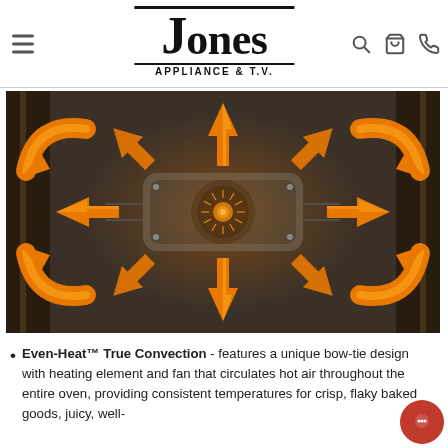Jones Appliance & T.V.
[Figure (illustration): Convection oven interior diagram showing a central fan/heating element with orange arrows radiating outward in multiple directions indicating heat circulation throughout the oven cavity.]
Even-Heat™ True Convection - features a unique bow-tie design with heating element and fan that circulates hot air throughout the entire oven, providing consistent temperatures for crisp, flaky baked goods, juicy, well-